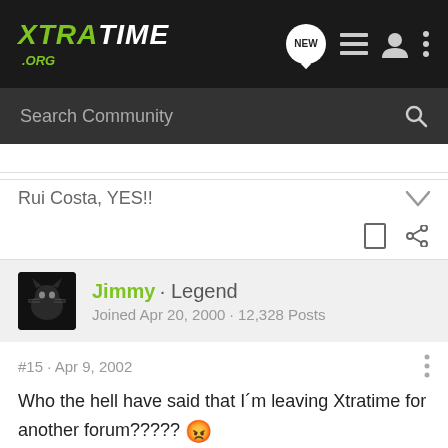XTRATIME .ORG
Search Community
Rui Costa, YES!!
Jimmy · Legend
Joined Apr 20, 2000 · 12,328 Posts
#15 · Apr 9, 2002
Who the hell have said that I´m leaving Xtratime for another forum????? 😡
That is surely not the case! I am not leaving Xtratime,I am just